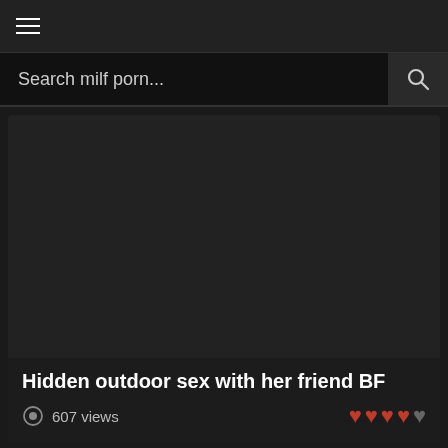≡ (hamburger menu)
Search milf porn...
[Figure (other): Dark video thumbnail placeholder]
Hidden outdoor sex with her friend BF
607 views
4 out of 5 hearts rating